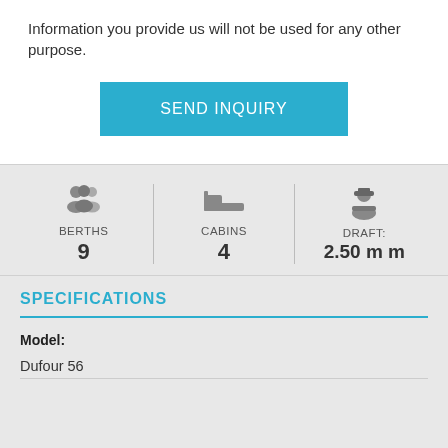Information you provide us will not be used for any other purpose.
SEND INQUIRY
BERTHS 9
CABINS 4
DRAFT: 2.50 m m
SPECIFICATIONS
Model:
Dufour 56